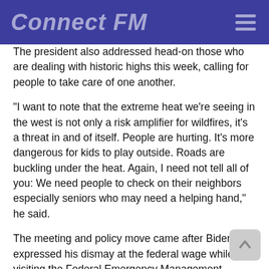Connect FM
The president also addressed head-on those who are dealing with historic highs this week, calling for people to take care of one another.
“I want to note that the extreme heat we’re seeing in the west is not only a risk amplifier for wildfires, it’s a threat in and of itself. People are hurting. It’s more dangerous for kids to play outside. Roads are buckling under the heat. Again, I need not tell all of you: We need people to check on their neighbors especially seniors who may need a helping hand,” he said.
The meeting and policy move came after Biden expressed his dismay at the federal wage while visiting the Federal Emergency Management Agency last week.
“I just realized — I didn’t realize this, I have to admit – that federal firefighters get paid $13 an hour. That’s going to end in my administration. That’s a ridiculously low salary to pay federal firefighters,” he said at the time.